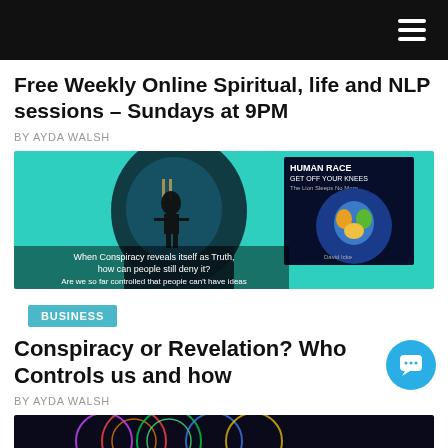Navigation bar with hamburger menu
Free Weekly Online Spiritual, life and NLP sessions – Sundays at 9PM
BY AYDA WALSH
[Figure (photo): Composite image showing a silhouette of a human head with a puppet-master figure inside on a teal background, overlaid with a book cover 'Human Race Get Off Your Knees – The Lion Sleeps No More' by David Icke, and text: 'When Conspiracy reveals itself as Truth, how can people still deny it? Are we so far controlled that people can't have ideas']
BUSINESS
Conspiracy or Revelation? Who Controls us and how
BY AYDA WALSH
[Figure (photo): Partial image at bottom showing colorful circular geometric patterns on dark background]